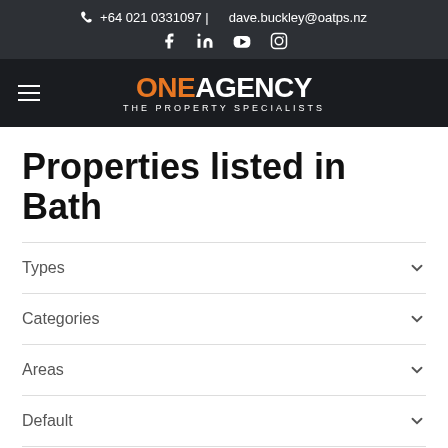📞 +64 021 0331097 | dave.buckley@oatps.nz
[Figure (logo): One Agency - The Property Specialists logo with orange ONE and white AGENCY text on black background]
Properties listed in Bath
Types
Categories
Areas
Default